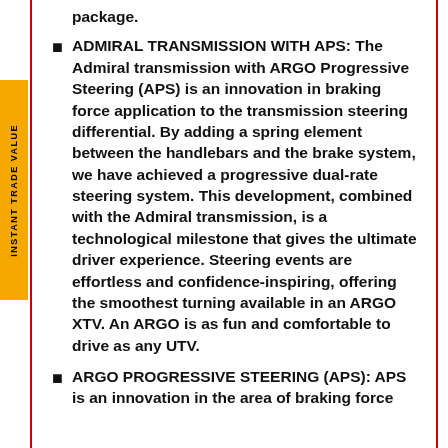package.
ADMIRAL TRANSMISSION WITH APS: The Admiral transmission with ARGO Progressive Steering (APS) is an innovation in braking force application to the transmission steering differential. By adding a spring element between the handlebars and the brake system, we have achieved a progressive dual-rate steering system. This development, combined with the Admiral transmission, is a technological milestone that gives the ultimate driver experience. Steering events are effortless and confidence-inspiring, offering the smoothest turning available in an ARGO XTV. An ARGO is as fun and comfortable to drive as any UTV.
ARGO PROGRESSIVE STEERING (APS): APS is an innovation in the area of braking force